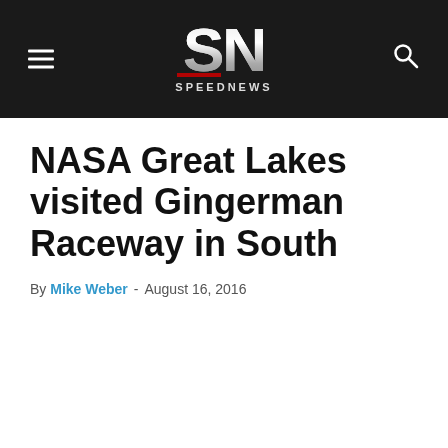SPEEDNEWS
NASA Great Lakes visited Gingerman Raceway in South
By Mike Weber - August 16, 2016